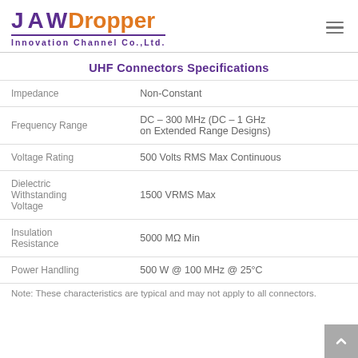JAW Dropper Innovation Channel Co.,Ltd.
UHF Connectors Specifications
| Parameter | Value |
| --- | --- |
| Impedance | Non-Constant |
| Frequency Range | DC – 300 MHz (DC – 1 GHz on Extended Range Designs) |
| Voltage Rating | 500 Volts RMS Max Continuous |
| Dielectric Withstanding Voltage | 1500 VRMS Max |
| Insulation Resistance | 5000 MΩ Min |
| Power Handling | 500 W @ 100 MHz @ 25°C |
Note: These characteristics are typical and may not apply to all connectors.